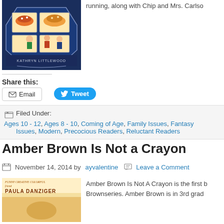[Figure (illustration): Book cover illustration showing a bakery shop front with children, decorated with colorful pastries and cakes in display windows. Author name Kathryn Littlewood at bottom.]
running, along with Chip and Mrs. Carlso
Share this:
Email
Tweet
Filed Under: Ages 10 - 12, Ages 8 - 10, Coming of Age, Family Issues, Fantasy Issues, Modern, Precocious Readers, Reluctant Readers
Amber Brown Is Not a Crayon
November 14, 2014 by ayvalentine | Leave a Comment
[Figure (illustration): Book cover for Amber Brown Is Not a Crayon by Paula Danziger]
Amber Brown Is Not A Crayon is the first b Brownseries. Amber Brown is in 3rd grad